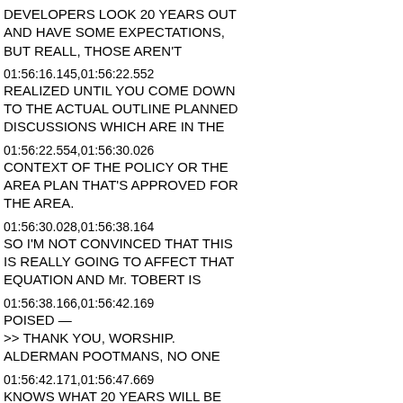DEVELOPERS LOOK 20 YEARS OUT AND HAVE SOME EXPECTATIONS, BUT REALL, THOSE AREN'T
01:56:16.145,01:56:22.552
REALIZED UNTIL YOU COME DOWN TO THE ACTUAL OUTLINE PLANNED DISCUSSIONS WHICH ARE IN THE
01:56:22.554,01:56:30.026
CONTEXT OF THE POLICY OR THE AREA PLAN THAT'S APPROVED FOR THE AREA.
01:56:30.028,01:56:38.164
SO I'M NOT CONVINCED THAT THIS IS REALLY GOING TO AFFECT THAT EQUATION AND Mr. TOBERT IS
01:56:38.166,01:56:42.169
POISED —
>> THANK YOU, WORSHIP. ALDERMAN POOTMANS, NO ONE
01:56:42.171,01:56:47.669
KNOWS WHAT 20 YEARS WILL BE LIKE AND WHEN THEY BUY LAND OR TAKE OPTIONS OUT ON LAND I'M